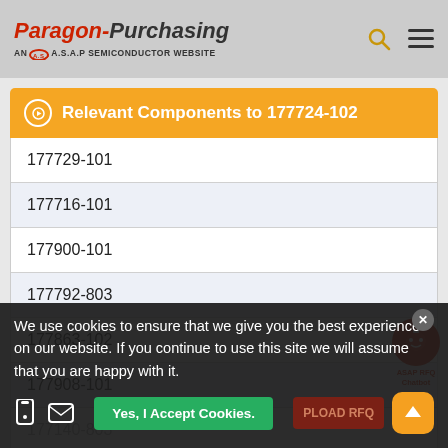[Figure (logo): Paragon Purchasing - An A.S.A.P Semiconductor Website logo with search and menu icons]
Relevant Components to 177724-102
177729-101
177716-101
177900-101
177792-803
177863-102
177908-101
177140-803
We use cookies to ensure that we give you the best experience on our website. If you continue to use this site we will assume that you are happy with it.
Yes, I Accept Cookies.